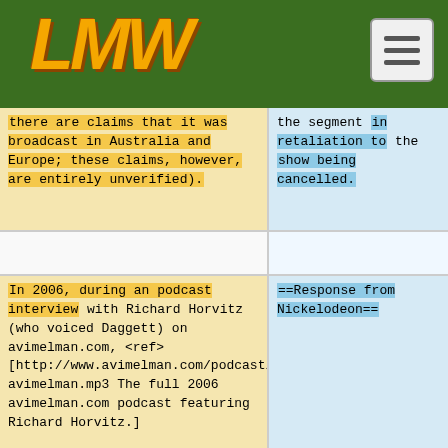LMW (logo) navigation header
there are claims that it was broadcast in Australia and Europe; these claims, however, are entirely unverified).
the segment in retaliation to the show being cancelled.
In 2006, during an podcast interview with Richard Horvitz (who voiced Daggett) on avimelman.com, <ref>[http://www.avimelman.com/podcast/week2-avimelman.mp3 The full 2006 avimelman.com podcast featuring Richard Horvitz.]
==Response from Nickelodeon==